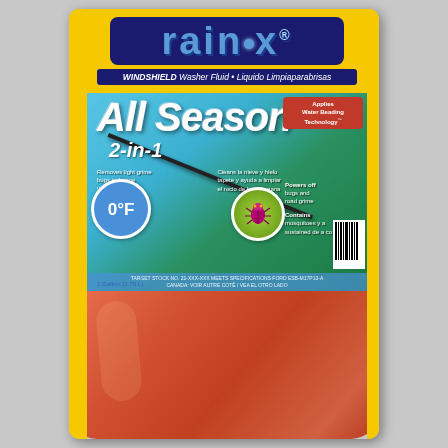[Figure (photo): Rain-X All Season 2-in-1 Windshield Washer Fluid product bottle. Orange/red jug with yellow label area at top. Features the Rain-X logo in blue on dark navy background, subtitle 'WINDSHIELD Washer Fluid • Liquido Limpiaparabrisas', large white text 'All Season' and '2-in-1', a blue circular badge showing '0°F', a green circular badge with a bug illustration, a red badge for 'Applies Water Beading Technology', feature bullet points, and the bottle body is orange-red.]